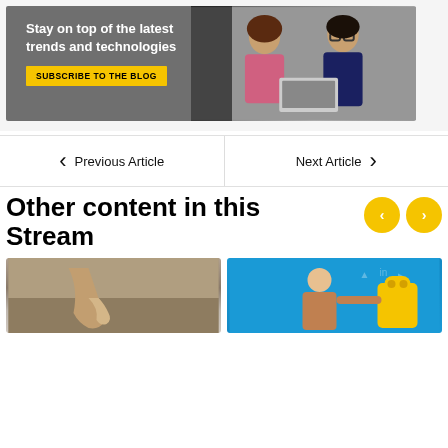[Figure (illustration): Blog subscription banner with two people looking at a laptop, dark overlay on left with text 'Stay on top of the latest trends and technologies' and yellow 'SUBSCRIBE TO THE BLOG' button]
Previous Article
Next Article
Other content in this Stream
[Figure (photo): Two people holding hands, one appears to be a child, blurred outdoor background]
[Figure (illustration): Colorful illustration on blue background with a person and yellow object, social media icons in background]